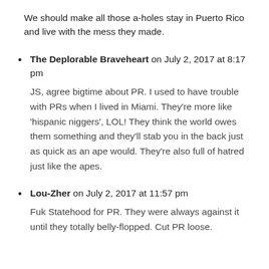We should make all those a-holes stay in Puerto Rico and live with the mess they made.
The Deplorable Braveheart on July 2, 2017 at 8:17 pm
JS, agree bigtime about PR. I used to have trouble with PRs when I lived in Miami. They’re more like ‘hispanic niggers’, LOL! They think the world owes them something and they’ll stab you in the back just as quick as an ape would. They’re also full of hatred just like the apes.
Lou-Zher on July 2, 2017 at 11:57 pm
Fuk Statehood for PR. They were always against it until they totally belly-flopped. Cut PR loose.